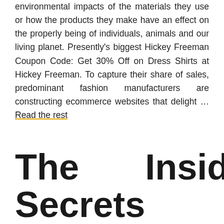environmental impacts of the materials they use or how the products they make have an effect on the properly being of individuals, animals and our living planet. Presently's biggest Hickey Freeman Coupon Code: Get 30% Off on Dress Shirts at Hickey Freeman. To capture their share of sales, predominant fashion manufacturers are constructing ecommerce websites that delight … Read the rest
The Secrets Insider of